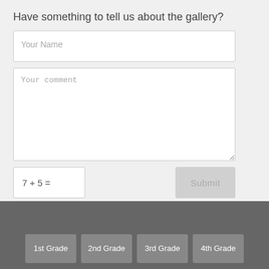Have something to tell us about the gallery?
Your Name
Your comment
Submit
Back to Top
1st Grade
2nd Grade
3rd Grade
4th Grade